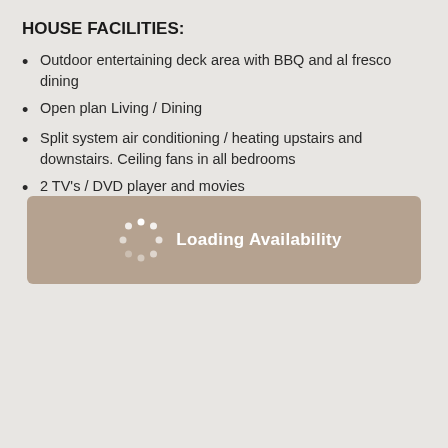HOUSE FACILITIES:
Outdoor entertaining deck area with BBQ and al fresco dining
Open plan Living / Dining
Split system air conditioning / heating upstairs and downstairs. Ceiling fans in all bedrooms
2 TV's / DVD player and movies
[Figure (screenshot): Loading Availability overlay banner with spinner animation on tan/brown background]
so we cannot guarantee access/quality of service, especially during peak periods)
Kitchen, with Nespresso coffee machine – pods and tea's included (no dishwasher)
Laundry facilities (no clothes dryer)
2 bathrooms, including a bath, hair dryer and toiletries (soaps)
Linen included
Off street parking for 2 cars